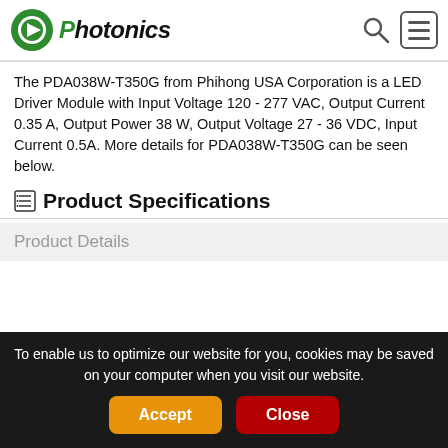GO Photonics
The PDA038W-T350G from Phihong USA Corporation is a LED Driver Module with Input Voltage 120 - 277 VAC, Output Current 0.35 A, Output Power 38 W, Output Voltage 27 - 36 VDC, Input Current 0.5A. More details for PDA038W-T350G can be seen below.
Product Specifications
Product Details
To enable us to optimize our website for you, cookies may be saved on your computer when you visit our website.